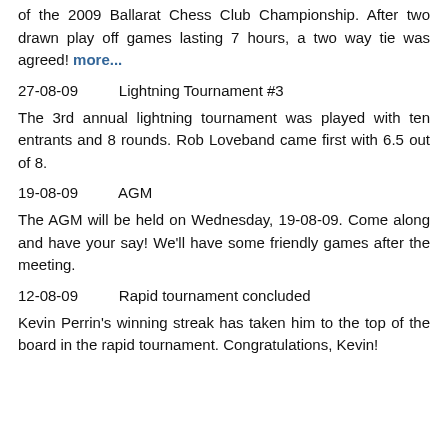of the 2009 Ballarat Chess Club Championship. After two drawn play off games lasting 7 hours, a two way tie was agreed! more...
27-08-09      Lightning Tournament #3
The 3rd annual lightning tournament was played with ten entrants and 8 rounds. Rob Loveband came first with 6.5 out of 8.
19-08-09      AGM
The AGM will be held on Wednesday, 19-08-09. Come along and have your say! We'll have some friendly games after the meeting.
12-08-09      Rapid tournament concluded
Kevin Perrin's winning streak has taken him to the top of the board in the rapid tournament. Congratulations, Kevin!